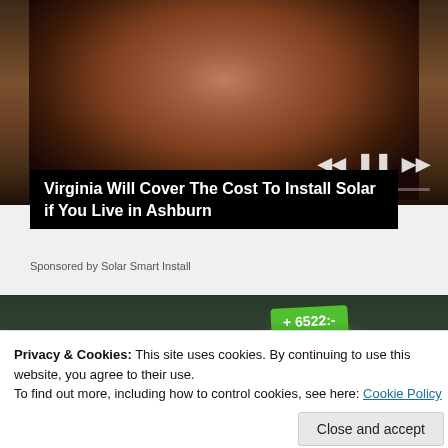[Figure (photo): Close-up photo of a middle-aged Black man's face with a serious expression, wearing a light-colored shirt, with media player controls (skip back, pause, skip forward) and a progress bar overlaid at the bottom]
Virginia Will Cover The Cost To Install Solar if You Live in Ashburn
Sponsored by Solar Smart Install
[Figure (photo): Aerial view of residential neighborhood with trees, partially in grayscale, with a green glowing solar panel on one house roof and a green badge showing '+ 6522:-']
Privacy & Cookies: This site uses cookies. By continuing to use this website, you agree to their use.
To find out more, including how to control cookies, see here: Cookie Policy
Close and accept